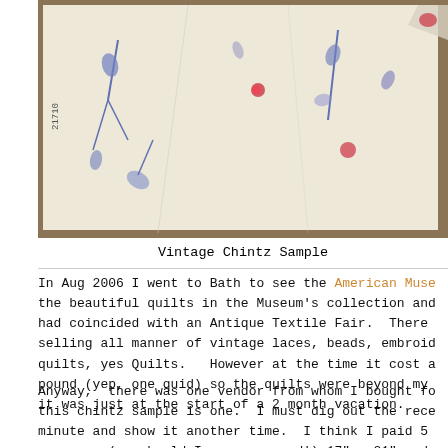[Figure (photo): Photograph of a vintage chintz fabric sample laid flat on a wooden surface, showing blue and red floral patterns on a white/cream background]
Vintage Chintz Sample
In Aug 2006 I went to Bath to see the American Muse the beautiful quilts in the Museum's collection and had coincided with an Antique Textile Fair.  There selling all manner of vintage laces, beads, embroid quilts, yes Quilts.  However at the time it cost a pound (yep, one quid) so the quilts were beyond my it was just at the start of a 2 month vacation.
Anyway,  there was one vendor from whom I bought fo this chintz sample is one.  I must dig out the rece minute and show it another time.  I think I paid 5 measures (or should I say measured!) 17" x 21" and the top edge as if it had been a sample.  It has on is in good condition.  It definitely has a chintz